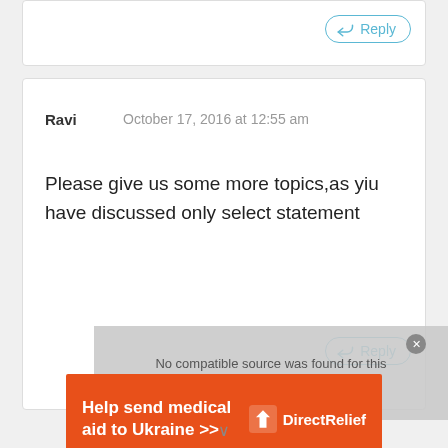[Figure (screenshot): Partial comment card showing a Reply button with reply arrow icon, light blue border]
Ravi   October 17, 2016 at 12:55 am
Please give us some more topics,as yiu have discussed only select statement
[Figure (screenshot): Reply button with reply arrow icon and light blue border]
[Figure (screenshot): Media error overlay: No compatible source was found for this media.]
[Figure (infographic): Orange advertisement banner: Help send medical aid to Ukraine >> with DirectRelief logo]